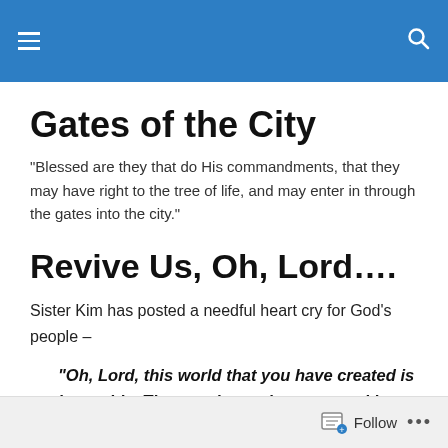Gates of the City — navigation header with hamburger menu and search icon
Gates of the City
"Blessed are they that do His commandments, that they may have right to the tree of life, and may enter in through the gates into the city."
Revive Us, Oh, Lord....
Sister Kim has posted a needful heart cry for God's people –
“Oh, Lord, this world that you have created is in trouble. The people you have created have turned from you and walked away from your face. We
Follow ...